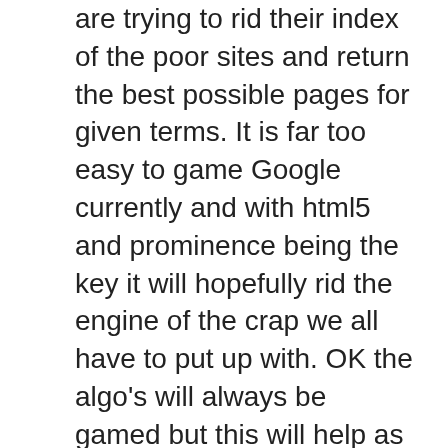are trying to rid their index of the poor sites and return the best possible pages for given terms. It is far too easy to game Google currently and with html5 and prominence being the key it will hopefully rid the engine of the crap we all have to put up with. OK the algo's will always be gamed but this will help as it will be far more on the quality and not just the link building.
Html5 is an easy upgrade for anyone with a small knowledge of web design. In fact I think it's an easier language as it is far more logical.
Great article again. Time for me to do